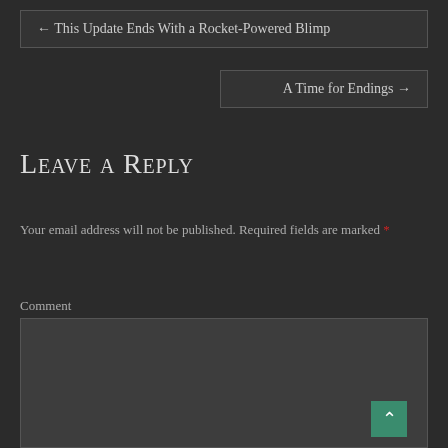← This Update Ends With a Rocket-Powered Blimp
A Time for Endings →
Leave a Reply
Your email address will not be published. Required fields are marked *
Comment